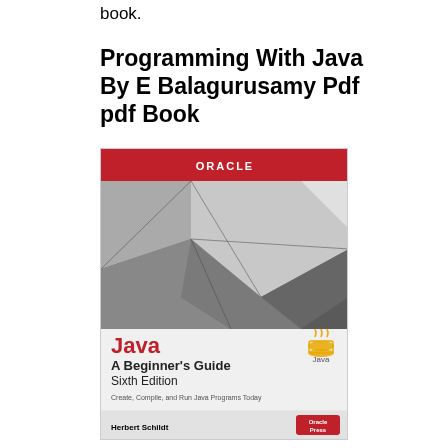book.
Programming With Java By E Balagurusamy Pdf pdf Book
[Figure (illustration): Book cover of 'Java A Beginner's Guide Sixth Edition' by Herbert Schildt, published by Oracle Press. The cover features the Oracle logo in a red banner at the top, a geometric grey architectural background image, and white lower section with the title in red and black text, the Java logo (coffee cup), subtitle 'Create, Compile, and Run Java Programs Today', author name Herbert Schildt, and Oracle Press badge.]